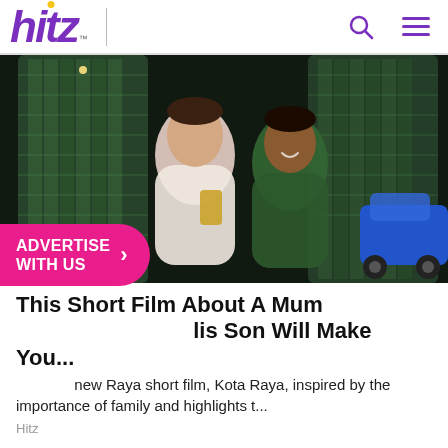hitz
[Figure (photo): Two men smiling and looking at a phone in front of the Petronas Twin Towers at night, with a blue car on the right side.]
This Short Film About A Mum And His Son Will Make You...
new Raya short film, Kota Raya, inspired by the importance of family and highlights t...
Hitz